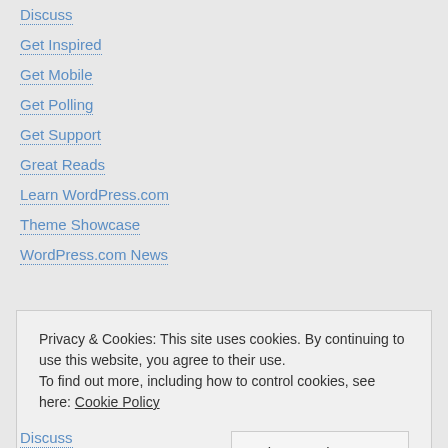Discuss
Get Inspired
Get Mobile
Get Polling
Get Support
Great Reads
Learn WordPress.com
Theme Showcase
WordPress.com News
Privacy & Cookies: This site uses cookies. By continuing to use this website, you agree to their use.
To find out more, including how to control cookies, see here: Cookie Policy
Close and accept
Discuss